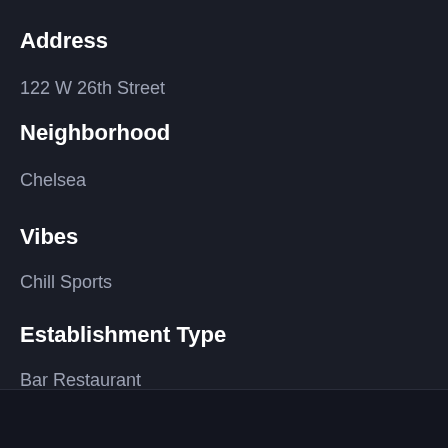Address
122 W 26th Street
Neighborhood
Chelsea
Vibes
Chill Sports
Establishment Type
Bar Restaurant